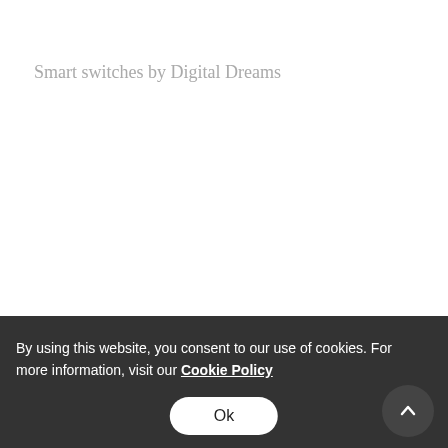Smart switches by Digital Dreams
By using this website, you consent to our use of cookies. For more information, visit our Cookie Policy
Ok